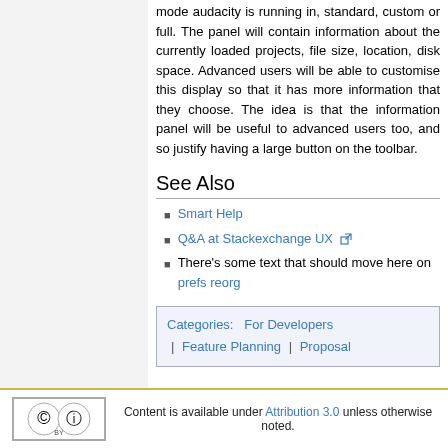mode audacity is running in, standard, custom or full. The panel will contain information about the currently loaded projects, file size, location, disk space. Advanced users will be able to customise this display so that it has more information that they choose. The idea is that the information panel will be useful to advanced users too, and so justify having a large button on the toolbar.
See Also
Smart Help
Q&A at Stackexchange UX
There's some text that should move here on prefs reorg
| Categories:  For Developers | Feature Planning | Proposal |
Content is available under Attribution 3.0 unless otherwise noted.